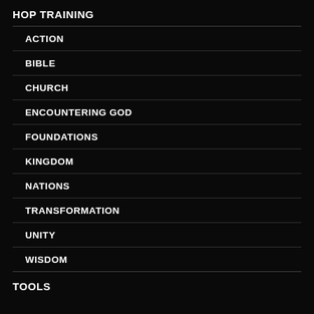HOP TRAINING
ACTION
BIBLE
CHURCH
ENCOUNTERING GOD
FOUNDATIONS
KINGDOM
NATIONS
TRANSFORMATION
UNITY
WISDOM
TOOLS